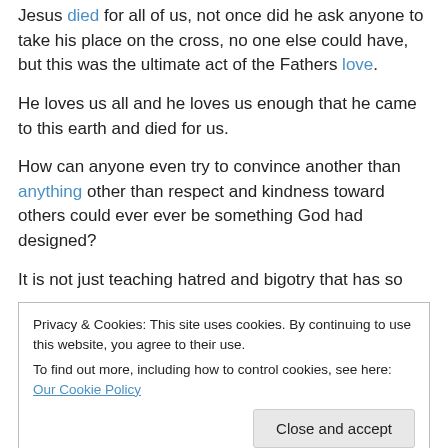Jesus died for all of us, not once did he ask anyone to take his place on the cross, no one else could have, but this was the ultimate act of the Fathers love.
He loves us all and he loves us enough that he came to this earth and died for us.
How can anyone even try to convince another than anything other than respect and kindness toward others could ever ever be something God had designed?
It is not just teaching hatred and bigotry that has so
Privacy & Cookies: This site uses cookies. By continuing to use this website, you agree to their use. To find out more, including how to control cookies, see here: Our Cookie Policy
Close and accept